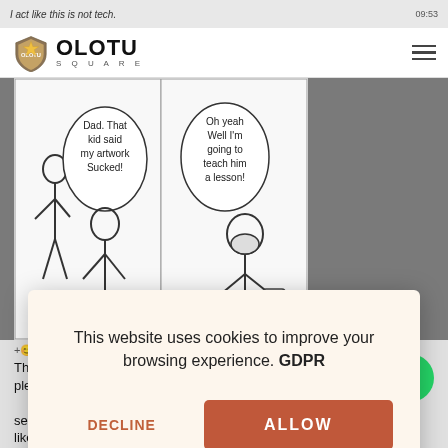[Figure (screenshot): Background screenshot of a website showing Olotu Square logo, a comic strip, and chat messages, partially dimmed behind a cookie consent dialog]
[Figure (logo): Olotu Square logo with shield icon and 'OLOTU SQUARE' text]
This website uses cookies to improve your browsing experience. GDPR
DECLINE
ALLOW
This argument is inconclusive, please let's continue this @l penetration testing session ... meanw like your criticism I still don't know how that picture looks now...hope you can
Need Help? Chat with us